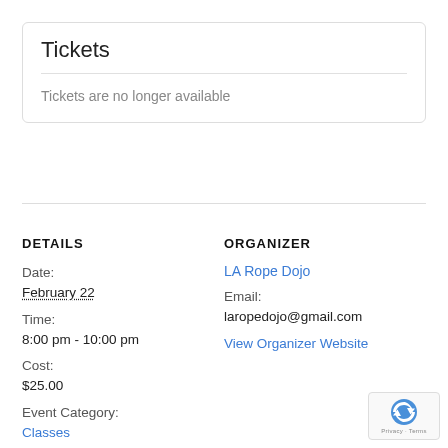Tickets
Tickets are no longer available
DETAILS
Date:
February 22
Time:
8:00 pm - 10:00 pm
Cost:
$25.00
Event Category:
Classes
ORGANIZER
LA Rope Dojo
Email:
laropedojo@gmail.com
View Organizer Website